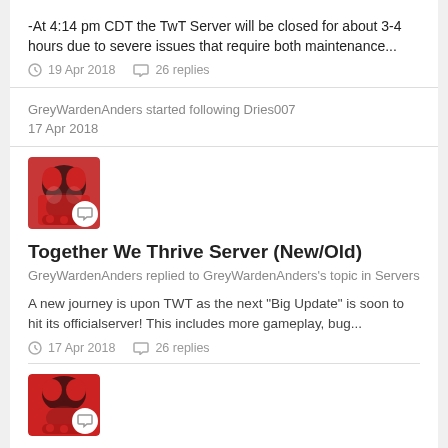-At 4:14 pm CDT the TwT Server will be closed for about 3-4 hours due to severe issues that require both maintenance...
19 Apr 2018  26 replies
GreyWardenAnders started following Dries007
17 Apr 2018
[Figure (photo): User avatar thumbnail with chat badge overlay]
Together We Thrive Server (New/Old)
GreyWardenAnders replied to GreyWardenAnders's topic in Servers
A new journey is upon TWT as the next "Big Update" is soon to hit its officialserver! This includes more gameplay, bug...
17 Apr 2018  26 replies
[Figure (photo): User avatar thumbnail with chat badge overlay at bottom]